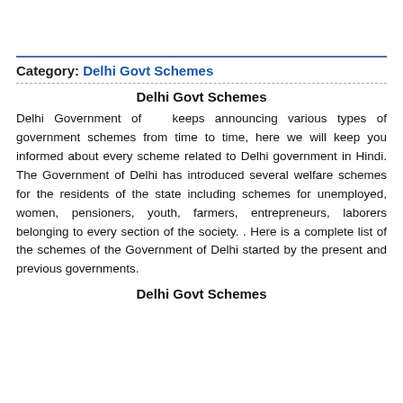Category: Delhi Govt Schemes
Delhi Govt Schemes
Delhi Government of  keeps announcing various types of government schemes from time to time, here we will keep you informed about every scheme related to Delhi government in Hindi. The Government of Delhi has introduced several welfare schemes for the residents of the state including schemes for unemployed, women, pensioners, youth, farmers, entrepreneurs, laborers belonging to every section of the society. . Here is a complete list of the schemes of the Government of Delhi started by the present and previous governments.
Delhi Govt Schemes